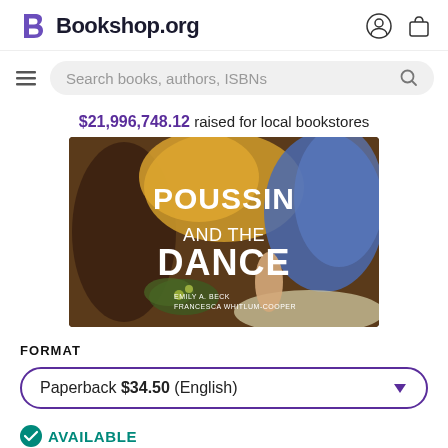Bookshop.org
Search books, authors, ISBNs
$21,996,748.12 raised for local bookstores
[Figure (photo): Book cover for 'Poussin and the Dance' by Emily A. Beck and Francesca Whitlum-Cooper, showing classical painting detail]
FORMAT
Paperback $34.50 (English)
AVAILABLE